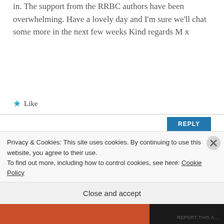in. The support from the RRBC authors have been overwhelming. Have a lovely day and I'm sure we'll chat some more in the next few weeks Kind regards M x
Like
REPLY
[Figure (photo): Circular avatar photo of a woman wearing a dark hat, black and white photo]
dlfinnauthor
APRIL 22, 2017 AT 20:31
Privacy & Cookies: This site uses cookies. By continuing to use this website, you agree to their use.
To find out more, including how to control cookies, see here: Cookie Policy
Close and accept